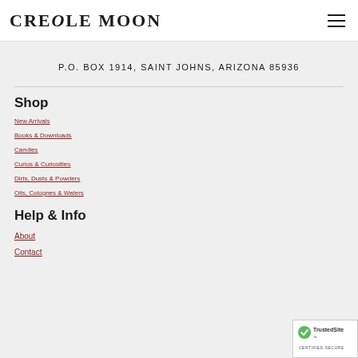CREOLE MOON
P.O. BOX 1914, SAINT JOHNS, ARIZONA 85936
Shop
New Arrivals
Books & Downloads
Candles
Curios & Curiosities
Dirts, Dusts & Powders
Oils, Colognes & Waters
Help & Info
About
Contact